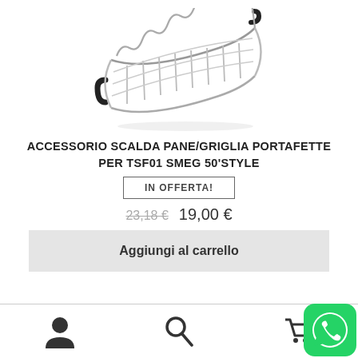[Figure (photo): Wire bread rack / toast rack accessory for SMEG toaster, metallic chrome with black rubber handles]
ACCESSORIO SCALDA PANE/GRIGLIA PORTAFETTE PER TSF01 SMEG 50'Style
IN OFFERTA!
23,18 €  19,00 €
Aggiungi al carrello